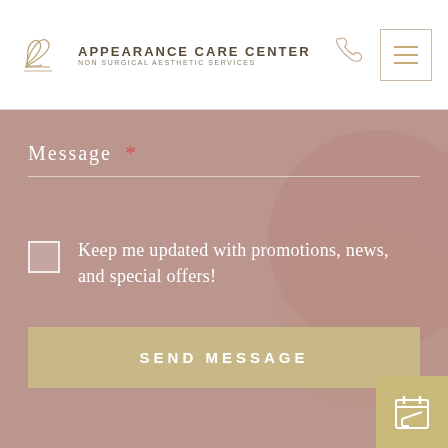APPEARANCE CARE CENTER | NON SURGICAL AESTHETIC SERVICES
Message *
Keep me updated with promotions, news, and special offers!
SEND MESSAGE